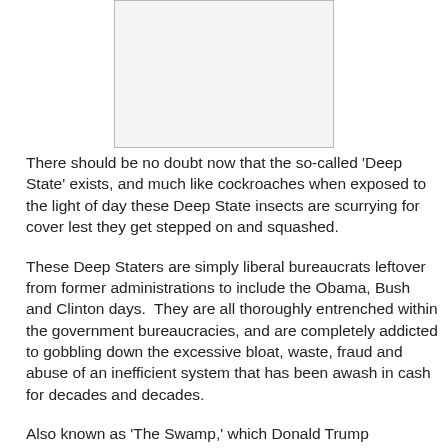[Figure (other): A rectangular image placeholder (light gray box with border), partially visible at the top of the page.]
There should be no doubt now that the so-called 'Deep State' exists, and much like cockroaches when exposed to the light of day these Deep State insects are scurrying for cover lest they get stepped on and squashed.
These Deep Staters are simply liberal bureaucrats leftover from former administrations to include the Obama, Bush and Clinton days.  They are all thoroughly entrenched within the government bureaucracies, and are completely addicted to gobbling down the excessive bloat, waste, fraud and abuse of an inefficient system that has been awash in cash for decades and decades.
Also known as 'The Swamp,' which Donald Trump